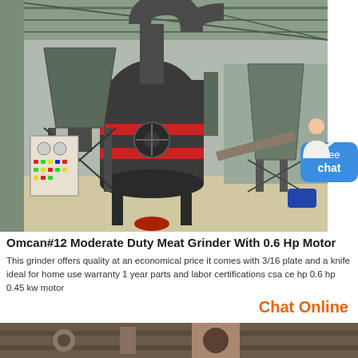[Figure (photo): Industrial grinding/milling machine in a large warehouse/factory setting. The machine is dark grey/black with red bands, large cylindrical body, connected to conical hoppers and dust collection equipment. A control panel is visible on the left.]
Omcan#12 Moderate Duty Meat Grinder With 0.6 Hp Motor
This grinder offers quality at an economical price it comes with 3/16 plate and a knife ideal for home use warranty 1 year parts and labor certifications csa ce hp 0.6 hp 0.45 kw motor
Chat Online
[Figure (photo): Partial view of another industrial machine or equipment at the bottom of the page.]